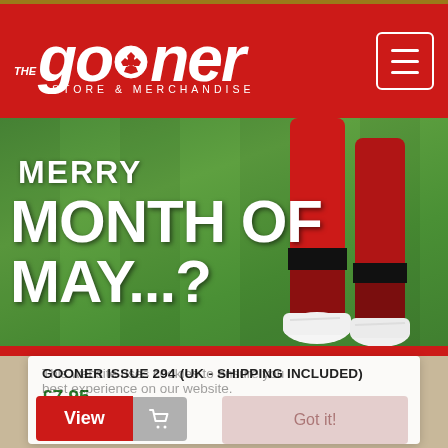[Figure (logo): The Gooner Store & Merchandise logo — white italic bold text on red background with football icon replacing letter o]
[Figure (photo): Hero banner showing footballer's legs in red Arsenal kit and white boots on green grass, with text overlay 'MERRY MONTH OF MAY...?' and red banner 'NO PRICE RISES: SIGN UP TO SUBSCRIBE TO THE GOONER FANZINE FOR 2022/23']
GOONER ISSUE 294 (UK - SHIPPING INCLUDED)
£7.95
This website uses cookies to ensure you best experience on our website.
Learn more
View
Got it!